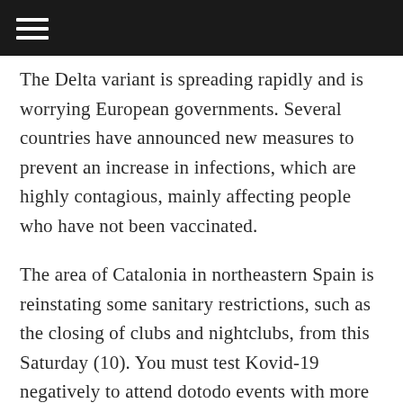≡
The Delta variant is spreading rapidly and is worrying European governments. Several countries have announced new measures to prevent an increase in infections, which are highly contagious, mainly affecting people who have not been vaccinated.
The area of Catalonia in northeastern Spain is reinstating some sanitary restrictions, such as the closing of clubs and nightclubs, from this Saturday (10). You must test Kovid-19 negatively to attend dotodo events with more than 500 people.
“The epidemic situation in Catalonia is very complex,” Patricia Plaza, a spokeswoman for the Catalan government, explained on Tuesday (6). In her opinion,